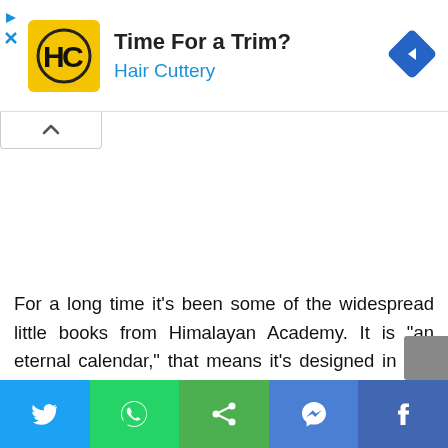[Figure (screenshot): Hair Cuttery advertisement banner with yellow logo showing HC initials, title 'Time For a Trim?', subtitle 'Hair Cuttery' in blue, and a blue diamond navigation icon on the right]
For a long time it’s been some of the widespread little books from Himalayan Academy. It is “an eternal calendar,” that means it’s designed in any such means that it by no means turns into out of
[Figure (infographic): Social share bar with five buttons: Twitter (blue), WhatsApp (green), Share (green), Messenger (blue), Facebook (dark blue)]